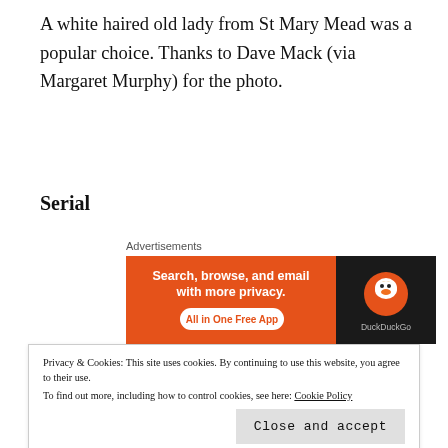A white haired old lady from St Mary Mead was a popular choice. Thanks to Dave Mack (via Margaret Murphy) for the photo.
Serial
[Figure (other): DuckDuckGo advertisement banner: orange left panel with text 'Search, browse, and email with more privacy. All in One Free App' and dark right panel with DuckDuckGo logo and duck icon.]
Those on Twitter will notice the amount of chat taking
Privacy & Cookies: This site uses cookies. By continuing to use this website, you agree to their use.
To find out more, including how to control cookies, see here: Cookie Policy
Baltimore, US. I'm not a huge fan of real life crime